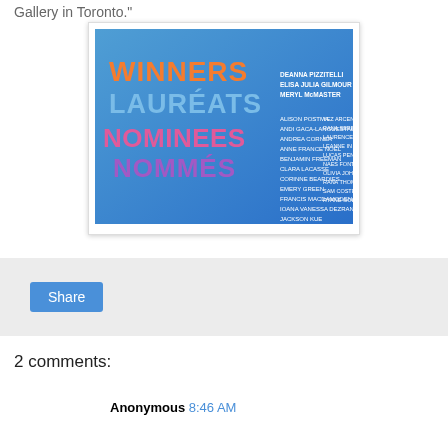Gallery in Toronto."
[Figure (photo): A blue promotional poster/sign showing 'WINNERS LAURÉATS NOMINEES NOMMÉS' in large colorful letters with names of nominees and winners listed to the right in white text.]
Share
2 comments:
Anonymous 8:46 AM